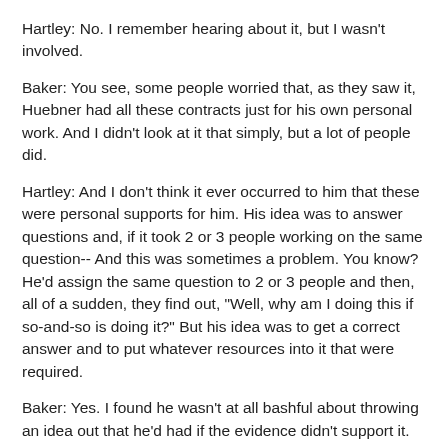Hartley:  No.  I remember hearing about it, but I wasn't involved.
Baker:  You see, some people worried that, as they saw it, Huebner had all these contracts just for his own personal work.  And I didn't look at it that simply, but a lot of people did.
Hartley:  And I don't think it ever occurred to him that these were personal supports for him.  His idea was to answer questions and, if it took 2 or 3 people working on the same question--  And this was sometimes a problem.  You know?  He'd assign the same question to 2 or 3 people and then, all of a sudden, they find out, "Well, why am I doing this if so-and-so is doing it?"  But his idea was to get a correct answer and to put whatever resources into it that were required.
Baker:  Yes.  I found he wasn't at all bashful about throwing an idea out that he'd had if the evidence didn't support it.